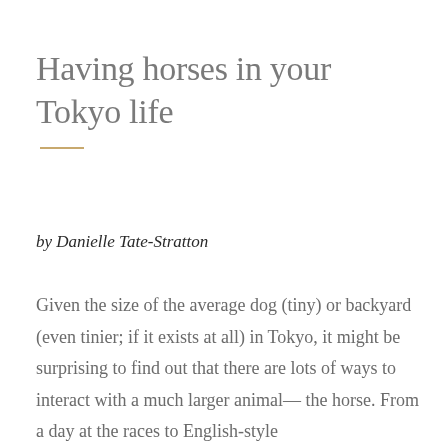Having horses in your Tokyo life
by Danielle Tate-Stratton
Given the size of the average dog (tiny) or backyard (even tinier; if it exists at all) in Tokyo, it might be surprising to find out that there are lots of ways to interact with a much larger animal—the horse. From a day at the races to English-style